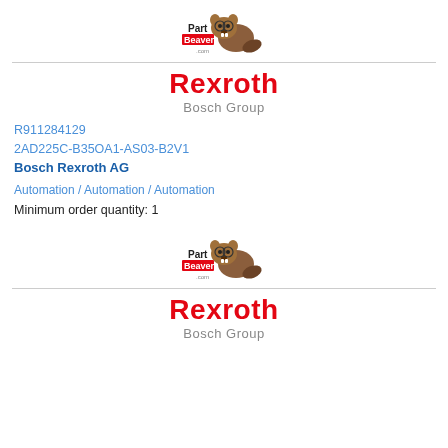[Figure (logo): PartBeaver.com logo with beaver mascot — top]
Rexroth Bosch Group
R911284129
2AD225C-B35OA1-AS03-B2V1
Bosch Rexroth AG
Automation / Automation / Automation
Minimum order quantity: 1
Packaging quantity: 1
Lead time: On request
REQUEST QUOTE
[Figure (logo): PartBeaver.com logo with beaver mascot — bottom repeat]
Rexroth Bosch Group